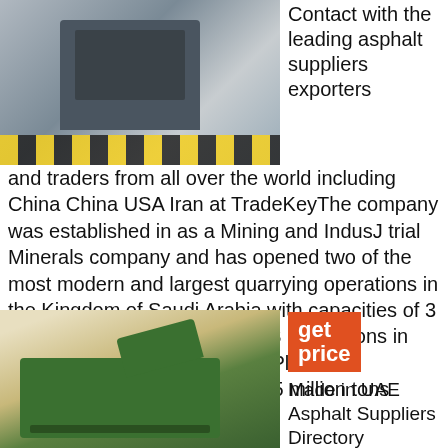[Figure (photo): Industrial crushing/mining machine in a factory setting with yellow and black striped hazard markings]
Contact with the leading asphalt suppliers exporters and traders from all over the world including China China USA Iran at TradeKeyThe company was established in as a Mining and IndusJ trial Minerals company and has opened two of the most modern and largest quarrying operations in the Kingdom of Saudi Arabia with capacities of 3 million tons in Summan and 63 million tons in Jeddah as well as an Asphalt Plant and Contracting gangs with over 05 million tons capacity
[Figure (photo): Green mobile asphalt/mining machine on sandy ground]
get price
Made in UAE Asphalt Suppliers Directory